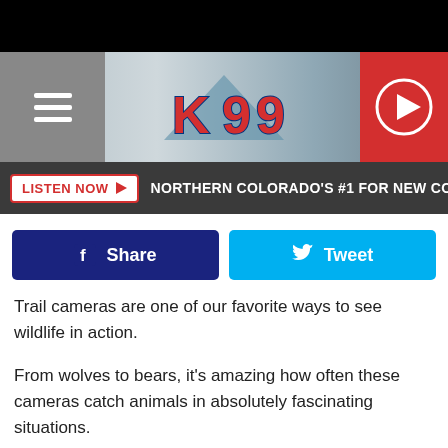[Figure (screenshot): Black top bar above the K99 radio station header]
[Figure (logo): K99 radio station header with logo, hamburger menu on left and play button on right, mountain background]
LISTEN NOW ▶  NORTHERN COLORADO'S #1 FOR NEW COUNTRY  NO
[Figure (infographic): Facebook Share button (dark navy blue) and Twitter Tweet button (cyan blue)]
Trail cameras are one of our favorite ways to see wildlife in action.
From wolves to bears, it's amazing how often these cameras catch animals in absolutely fascinating situations.
Earlier in July, Rio Mora National Wildlife Refuge shared a picture from October 2019 of a young Bull Elk caught on camera.